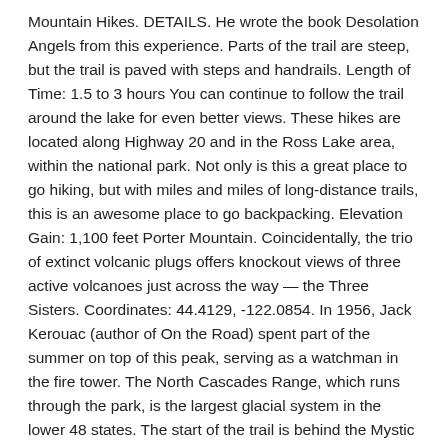Mountain Hikes. DETAILS. He wrote the book Desolation Angels from this experience. Parts of the trail are steep, but the trail is paved with steps and handrails. Length of Time: 1.5 to 3 hours You can continue to follow the trail around the lake for even better views. These hikes are located along Highway 20 and in the Ross Lake area, within the national park. Not only is this a great place to go hiking, but with miles and miles of long-distance trails, this is an awesome place to go backpacking. Elevation Gain: 1,100 feet Porter Mountain. Coincidentally, the trio of extinct volcanic plugs offers knockout views of three active volcanoes just across the way — the Three Sisters. Coordinates: 44.4129, -122.0854. In 1956, Jack Kerouac (author of On the Road) spent part of the summer on top of this peak, serving as a watchman in the fire tower. The North Cascades Range, which runs through the park, is the largest glacial system in the lower 48 states. The start of the trail is behind the Mystic Chairlift, and the first 2.0km are gently downhill towards Forty Mile Creek. Take Thornton Lakes Road 5 miles until you reach the trailhead. If you want a short, easy hike, our top picks are Blue Lake, Rainy Lake, and Thunder Knob. To get from the lake to Desolation Peak, it is a challenging, steep hike. Porter Mountain Trail parts from a junction below the summit of Cascade Mountain and drops across a col to the second summit, 0.7 miles away